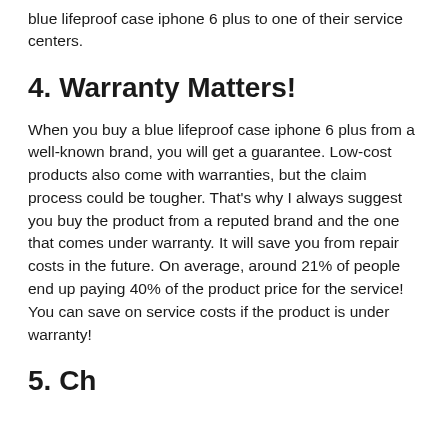blue lifeproof case iphone 6 plus to one of their service centers.
4. Warranty Matters!
When you buy a blue lifeproof case iphone 6 plus from a well-known brand, you will get a guarantee. Low-cost products also come with warranties, but the claim process could be tougher. That's why I always suggest you buy the product from a reputed brand and the one that comes under warranty. It will save you from repair costs in the future. On average, around 21% of people end up paying 40% of the product price for the service! You can save on service costs if the product is under warranty!
5. Ch...